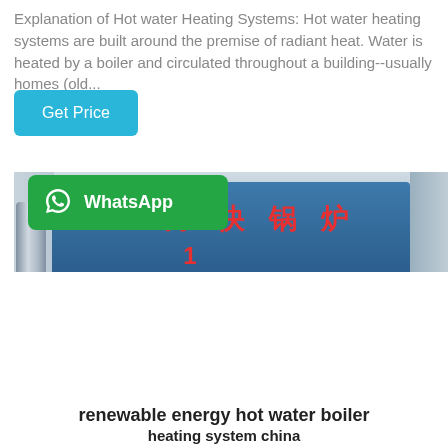Explanation of Hot water Heating Systems: Hot water heating systems are built around the premise of radiant heat. Water is heated by a boiler and circulated throughout a building--usually homes (old...
Get Price
[Figure (photo): Industrial hot water boiler in a factory setting. A large blue cylindrical boiler with red Chinese characters '方快锅炉' (Fangkuai Boiler) painted on the front. A red burner unit is attached at the front center. Silver piping visible on the left side. WhatsApp button overlay in the bottom left corner.]
WhatsApp
renewable energy hot water boiler heating system china